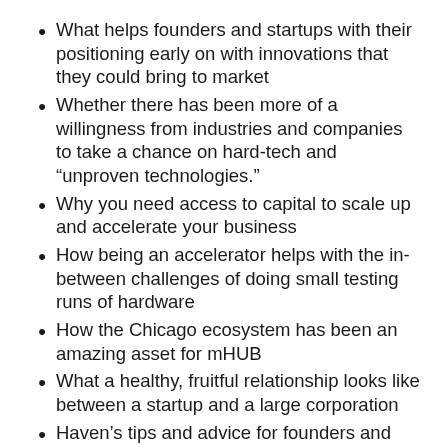What helps founders and startups with their positioning early on with innovations that they could bring to market
Whether there has been more of a willingness from industries and companies to take a chance on hard-tech and “unproven technologies.”
Why you need access to capital to scale up and accelerate your business
How being an accelerator helps with the in-between challenges of doing small testing runs of hardware
How the Chicago ecosystem has been an amazing asset for mHUB
What a healthy, fruitful relationship looks like between a startup and a large corporation
Haven’s tips and advice for founders and